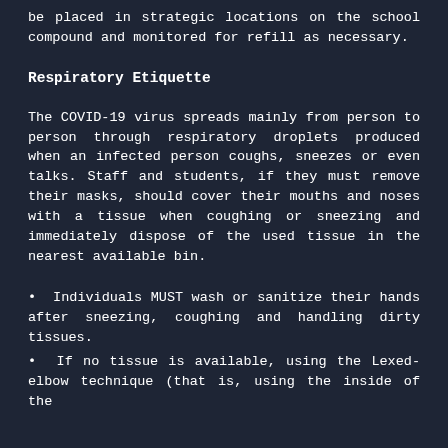be placed in strategic locations on the school compound and monitored for refill as necessary.
Respiratory Etiquette
The COVID-19 virus spreads mainly from person to person through respiratory droplets produced when an infected person coughs, sneezes or even talks. Staff and students, if they must remove their masks, should cover their mouths and noses with a tissue when coughing or sneezing and immediately dispose of the used tissue in the nearest available bin.
Individuals MUST wash or sanitize their hands after sneezing, coughing and handling dirty tissues.
If no tissue is available, using the Lexed-elbow technique (that is, using the inside of the